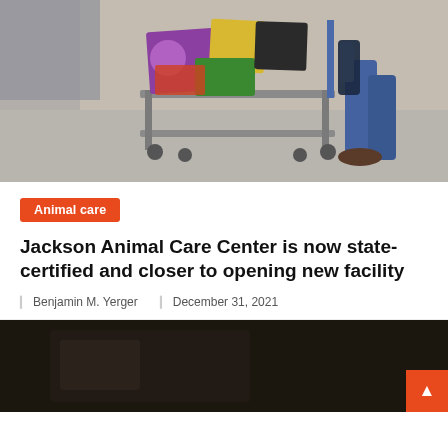[Figure (photo): A warehouse worker pushing a flatbed cart loaded with bags of pet food and supplies. The person is wearing jeans and pushing the cart on a concrete floor.]
Animal care
Jackson Animal Care Center is now state-certified and closer to opening new facility
Benjamin M. Yerger   December 31, 2021
[Figure (photo): A dark, mostly black photo — appears to be the beginning of a second article image, largely obscured.]